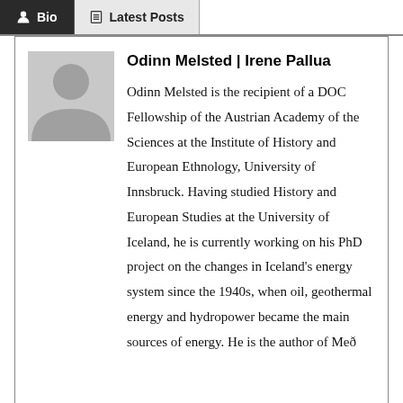Bio | Latest Posts
[Figure (illustration): Generic person silhouette avatar placeholder image in gray]
Odinn Melsted | Irene Pallua
Odinn Melsted is the recipient of a DOC Fellowship of the Austrian Academy of the Sciences at the Institute of History and European Ethnology, University of Innsbruck. Having studied History and European Studies at the University of Iceland, he is currently working on his PhD project on the changes in Iceland's energy system since the 1940s, when oil, geothermal energy and hydropower became the main sources of energy. He is the author of Með